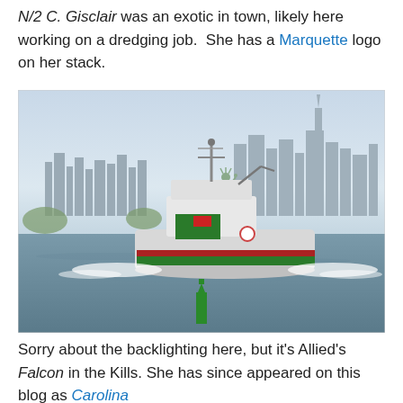N/2 C. Gisclair was an exotic in town, likely here working on a dredging job. She has a Marquette logo on her stack.
[Figure (photo): A tugboat with green and red markings traveling across water with the Statue of Liberty and New York City skyline in the background. A green channel marker buoy is visible in the foreground.]
Sorry about the backlighting here, but it's Allied's Falcon in the Kills. She has since appeared on this blog as Carolina